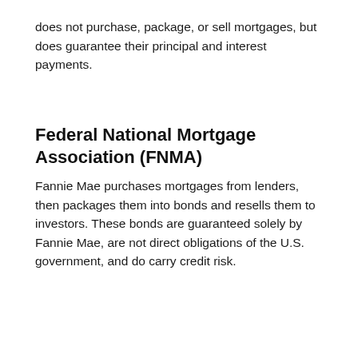does not purchase, package, or sell mortgages, but does guarantee their principal and interest payments.
Federal National Mortgage Association (FNMA)
Fannie Mae purchases mortgages from lenders, then packages them into bonds and resells them to investors. These bonds are guaranteed solely by Fannie Mae, are not direct obligations of the U.S. government, and do carry credit risk.